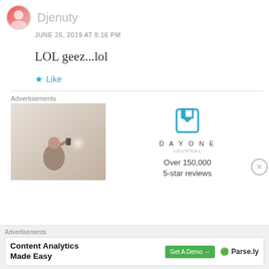Djenuty
JUNE 26, 2019 AT 8:16 PM
LOL geez...lol
★ Like
Advertisements
[Figure (photo): Person photographing sunset, viewed from behind, holding phone up]
[Figure (logo): Day One Journal logo with bookmark icon and text 'Over 150,000 5-star reviews']
Advertisements
[Figure (infographic): Content Analytics Made Easy - Get A Demo button - Parse.ly logo]